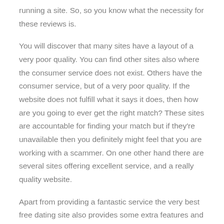running a site. So, so you know what the necessity for these reviews is.
You will discover that many sites have a layout of a very poor quality. You can find other sites also where the consumer service does not exist. Others have the consumer service, but of a very poor quality. If the website does not fulfill what it says it does, then how are you going to ever get the right match? These sites are accountable for finding your match but if they're unavailable then you definitely might feel that you are working with a scammer. On one other hand there are several sites offering excellent service, and a really quality website.
Apart from providing a fantastic service the very best free dating site also provides some extra features and extra facilities. These sites get great